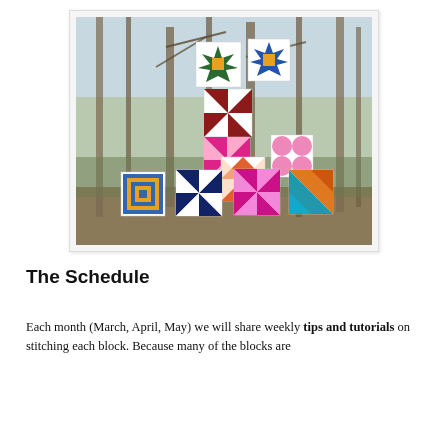[Figure (photo): Photograph of colorful quilt blocks hanging among bare trees in a wooded outdoor setting. Multiple quilt blocks featuring star, pinwheel, and geometric patterns in colors including purple, blue, orange, yellow, pink, and white are suspended from the trees.]
The Schedule
Each month (March, April, May) we will share weekly tips and tutorials on stitching each block. Because many of the blocks are standard quilt blocks it is easy to do a month of prep work ahead of time.